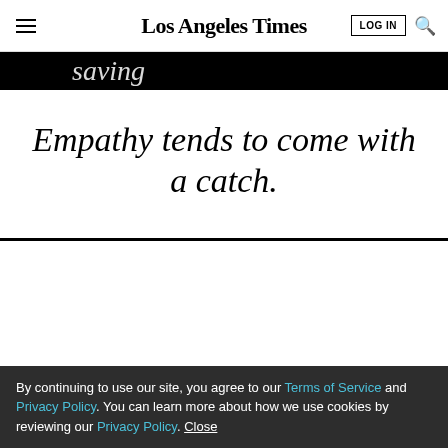Los Angeles Times
[Figure (screenshot): Partially visible article image strip with italic text on black background]
Empathy tends to come with a catch.
LIMITED-TIME OFFER
$1 for 6 Months
SUBSCRIBE NOW
By continuing to use our site, you agree to our Terms of Service and Privacy Policy. You can learn more about how we use cookies by reviewing our Privacy Policy. Close